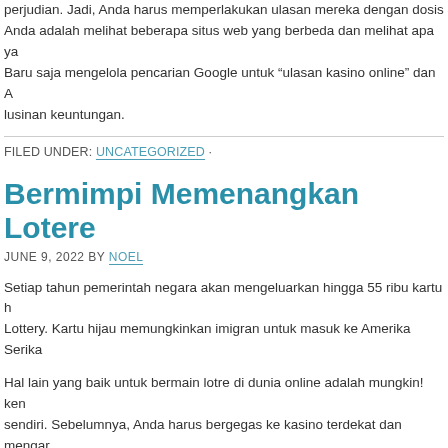perjudian. Jadi, Anda harus memperlakukan ulasan mereka dengan dosis Anda adalah melihat beberapa situs web yang berbeda dan melihat apa ya Baru saja mengelola pencarian Google untuk “ulasan kasino online” dan A lusinan keuntungan.
FILED UNDER: UNCATEGORIZED ·
Bermimpi Memenangkan Lotere
JUNE 9, 2022 BY NOEL
Setiap tahun pemerintah negara akan mengeluarkan hingga 55 ribu kartu h Lottery. Kartu hijau memungkinkan imigran untuk masuk ke Amerika Serika
Hal lain yang baik untuk bermain lotre di dunia online adalah mungkin! ken sendiri. Sebelumnya, Anda harus bergegas ke kasino terdekat dan mengar orang. Anda sudah menghabiskan bersama Anda dengan uang untuk dapa untuk arah perubahan Anda. Dalam Lotere online, spesialis. masuk dan be ruang dan waktu sendiri, bahkan dari pagi hari.
Seringkali ada cara yang fantastis, cepat dan mudah bagi Anda untuk mer lotere Anda. The Internet. Dengan hanya online dan masuk ke satu situs w